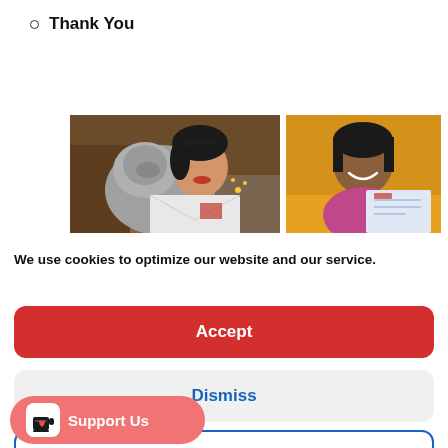Thank You
[Figure (photo): Two photos side by side: left photo shows a woman with a dog licking her face holding an envelope/mail; right photo shows a young girl smiling holding a certificate.]
We use cookies to optimize our website and our service.
Accept
Dismiss
references
[Figure (logo): Support Us button with a Ko-fi cup icon on a salmon/red rounded pill button]